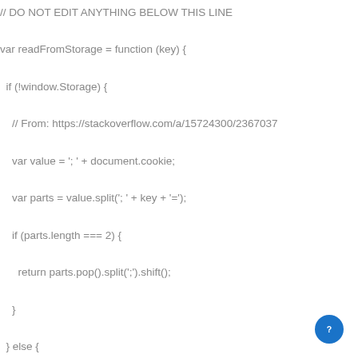// DO NOT EDIT ANYTHING BELOW THIS LINE

var readFromStorage = function (key) {

  if (!window.Storage) {

    // From: https://stackoverflow.com/a/15724300/2367037

    var value = '; ' + document.cookie;

    var parts = value.split('; ' + key + '=');

    if (parts.length === 2) {

      return parts.pop().split(';').shift();

    }

  } else {

    return window.localStorage.getItem(key);

  }

};